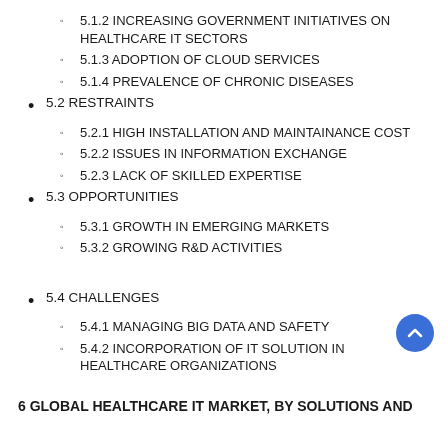5.1.2 INCREASING GOVERNMENT INITIATIVES ON HEALTHCARE IT SECTORS
5.1.3 ADOPTION OF CLOUD SERVICES
5.1.4 PREVALENCE OF CHRONIC DISEASES
5.2 RESTRAINTS
5.2.1 HIGH INSTALLATION AND MAINTAINANCE COST
5.2.2 ISSUES IN INFORMATION EXCHANGE
5.2.3 LACK OF SKILLED EXPERTISE
5.3 OPPORTUNITIES
5.3.1 GROWTH IN EMERGING MARKETS
5.3.2 GROWING R&D ACTIVITIES
5.4 CHALLENGES
5.4.1 MANAGING BIG DATA AND SAFETY
5.4.2 INCORPORATION OF IT SOLUTION IN HEALTHCARE ORGANIZATIONS
6 GLOBAL HEALTHCARE IT MARKET, BY SOLUTIONS AND